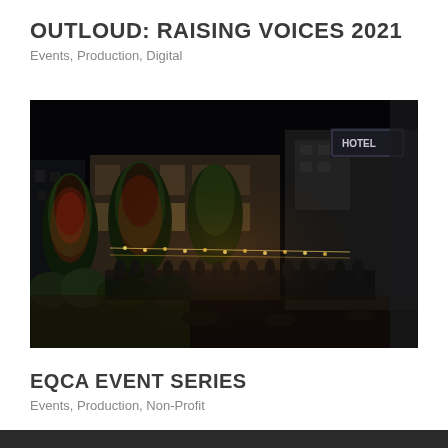OUTLOUD: RAISING VOICES 2021
Events, Production, Digital
[Figure (photo): Night-time outdoor event venue with trees lit in red and orange light, string lights, crowd of people, buildings in background including a hotel with illuminated sign.]
EQCA EVENT SERIES
Events, Production, Non-Profit